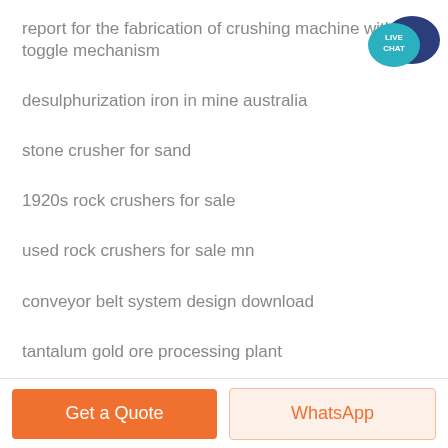report for the fabrication of crushing machine with toggle mechanism
desulphurization iron in mine australia
stone crusher for sand
1920s rock crushers for sale
used rock crushers for sale mn
conveyor belt system design download
tantalum gold ore processing plant
artisanal business plan sample gold mine
[Figure (illustration): Live Chat speech bubble badge in teal and dark blue]
Get a Quote
WhatsApp